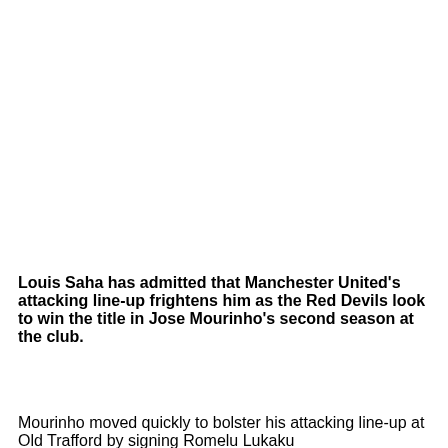Louis Saha has admitted that Manchester United's attacking line-up frightens him as the Red Devils look to win the title in Jose Mourinho's second season at the club.
Mourinho moved quickly to bolster his attacking line-up at Old Trafford by signing Romelu Lukaku